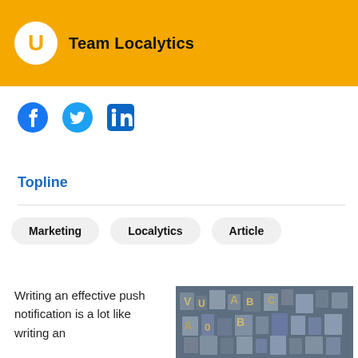Team Localytics
[Figure (logo): Social media icons: Facebook, Twitter, LinkedIn in blue]
Topline
Marketing
Localytics
Article
Writing an effective push notification is a lot like writing an
[Figure (photo): Photo of scattered letterpress type blocks]